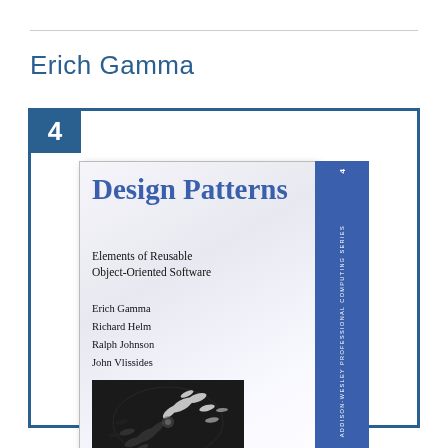Erich Gamma
[Figure (illustration): Book cover of 'Design Patterns: Elements of Reusable Object-Oriented Software' by Erich Gamma, Richard Helm, Ralph Johnson, John Vlissides. Foreword by Grady Booch. Addison-Wesley Professional Computing Series. Shows an Escher-style birds image on the cover. Number badge '4' in top-left corner of the card frame.]